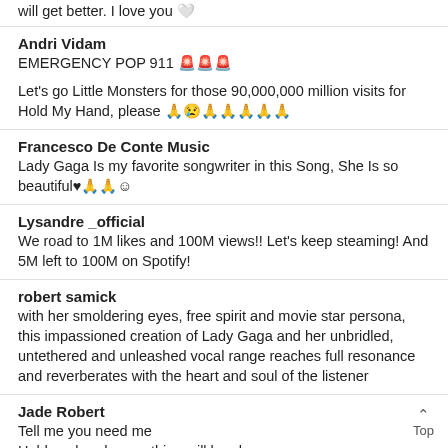will get better. I love you 🤍
Andri Vidam
EMERGENCY POP 911 🚨🚨🚨
Let's go Little Monsters for those 90,000,000 million visits for Hold My Hand, please 🙏😢🙏🙏🙏🙏🙏
Francesco De Conte Music
Lady Gaga Is my favorite songwriter in this Song, She Is so beautiful♥🙏🙏☺
Lysandre _official
We road to 1M likes and 100M views!! Let's keep steaming! And 5M left to 100M on Spotify!
robert samick
with her smoldering eyes, free spirit and movie star persona, this impassioned creation of Lady Gaga and her unbridled, untethered and unleashed vocal range reaches full resonance and reverberates with the heart and soul of the listener
Jade Robert
Tell me you need me
Hold my hand, everything will be okay